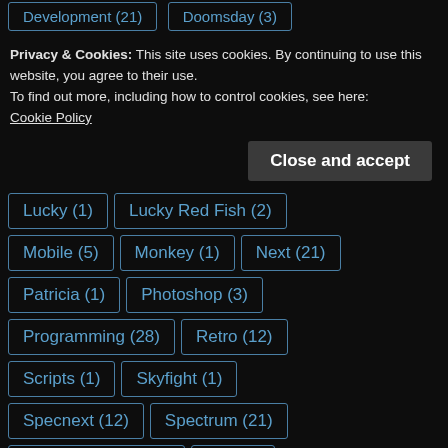Development (21)
Doomsday (3)
Privacy & Cookies: This site uses cookies. By continuing to use this website, you agree to their use.
To find out more, including how to control cookies, see here: Cookie Policy
Close and accept
Lucky (1)
Lucky Red Fish (2)
Mobile (5)
Monkey (1)
Next (21)
Patricia (1)
Photoshop (3)
Programming (28)
Retro (12)
Scripts (1)
Skyfight (1)
Specnext (12)
Spectrum (21)
Spectrum Next (12)
Thy (1)